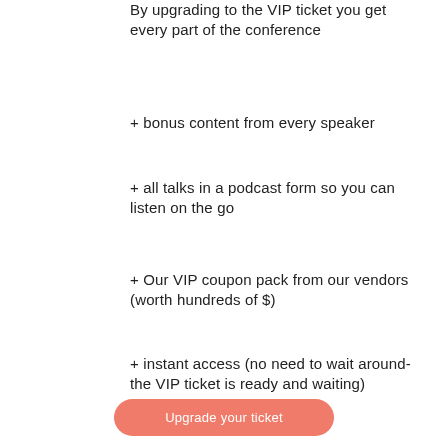By upgrading to the VIP ticket you get every part of the conference
+ bonus content from every speaker
+ all talks in a podcast form so you can listen on the go
+ Our VIP coupon pack from our vendors (worth hundreds of $)
+ instant access (no need to wait around- the VIP ticket is ready and waiting)
Upgrade your ticket